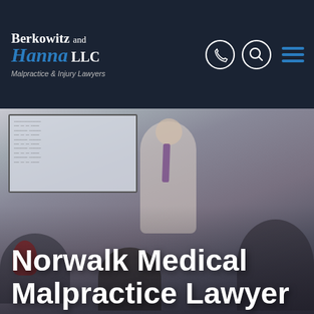Berkowitz and Hanna LLC Malpractice & Injury Lawyers
[Figure (photo): A man in a white shirt and purple tie stands speaking in front of a large screen showing a document, addressing seated attendees in what appears to be a conference or training room setting.]
Norwalk Medical Malpractice Lawyer
Whenever any of us visits a medical clinic or the Emergency Room, it's with the expectation that we'll be